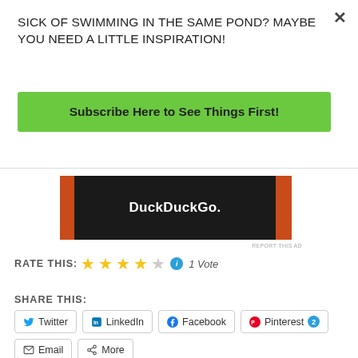SICK OF SWIMMING IN THE SAME POND? MAYBE YOU NEED A LITTLE INSPIRATION!
Subscribe Here to See Things First!
[Figure (screenshot): DuckDuckGo advertisement banner with dark background and orange side bars]
RATE THIS: ★★★★☆ ℹ 1 Vote
SHARE THIS:
Twitter
LinkedIn
Facebook
Pinterest 2
Email
More
Loading...